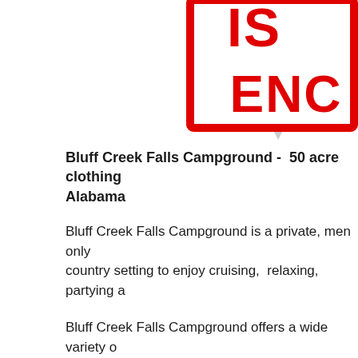[Figure (photo): Partial view of a red and white sign with large bold red letters reading 'IS' and 'ENCO' (truncated), with a red border on a white background, cropped at top-right corner of the page.]
Bluff Creek Falls Campground -  50 acre clothing Alabama
Bluff Creek Falls Campground is a private, men only country setting to enjoy cruising,  relaxing, partying a
Bluff Creek Falls Campground offers a wide variety of areas, pool, pavilion, orchard. There are also areas for cruisers to enjoy the amenities.